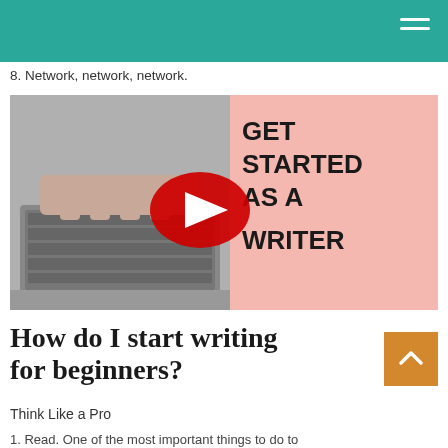8. Network, network, network.
[Figure (screenshot): YouTube video thumbnail showing hands typing on a laptop keyboard on the left (black and white), and pink background on the right with bold text 'GET STARTED AS A WRITER' with a YouTube play button overlay in the center.]
How do I start writing for beginners?
Think Like a Pro
1. Read. One of the most important things to do to